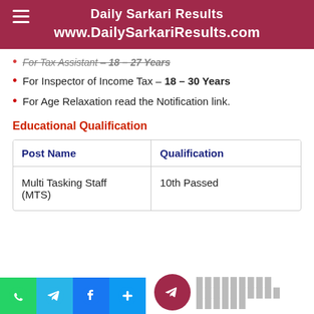Daily Sarkari Results
www.DailySarkariResults.com
For Tax Assistant – 18 – 27 Years
For Inspector of Income Tax – 18 – 30 Years
For Age Relaxation read the Notification link.
Educational Qualification
| Post Name | Qualification |
| --- | --- |
| Multi Tasking Staff (MTS) | 10th Passed |
[Figure (screenshot): Telegram channel link button with Hindi text and social media share icons (WhatsApp, Telegram, Facebook, More)]